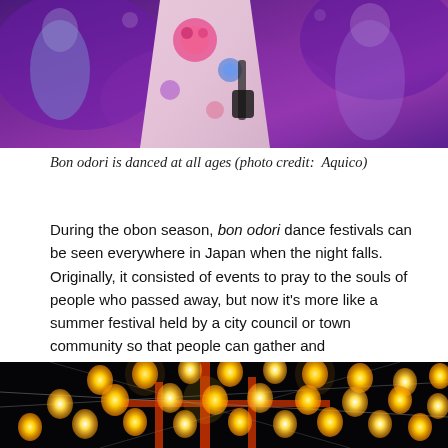[Figure (photo): Close-up photo of a person wearing a colorful floral kimono, dancing under purple festival lights at a bon odori event.]
Bon odori is danced at all ages (photo credit:  Aquico)
During the obon season, bon odori dance festivals can be seen everywhere in Japan when the night falls. Originally, it consisted of events to pray to the souls of people who passed away, but now it's more like a summer festival held by a city council or town community so that people can gather and communicate. People dance in a circle around an elevated scene where the musicians play.
[Figure (photo): Night photo of a traditional Japanese bon odori festival tower decorated with glowing orange paper lanterns against a dark sky.]